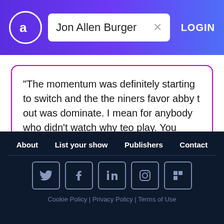Jon Allen Burger — LOGIN
"The momentum was definitely starting to switch and the the niners favor abby t out was dominate. I mean for anybody who didn't watch why teo play. You know only...
seventy catches
fourteen yards
Allen
About | List your show | Publishers | Contact | Cookie Policy | Privacy Policy | Terms of Use